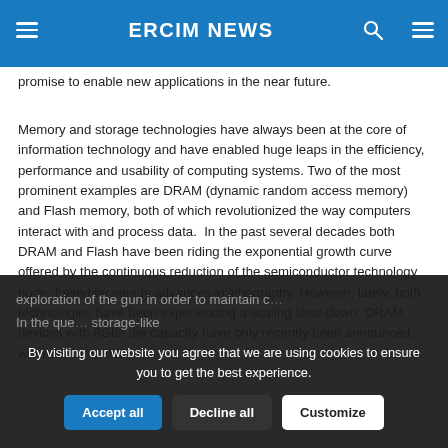ERCIM NEWS
promise to enable new applications in the near future.
Memory and storage technologies have always been at the core of information technology and have enabled huge leaps in the efficiency, performance and usability of computing systems. Two of the most prominent examples are DRAM (dynamic random access memory) and Flash memory, both of which revolutionized the way computers interact with and process data.  In the past several decades both DRAM and Flash have been riding the exponential growth curve offered by the continuous reduction of the semiconductor technology node, fueled by steady advances in lithography. However, lately, both technologies have been experiencing a scaling slow-down. DRAM devices with 8Gbit die capacity have only recently been announced, whereas for NAND exploration of the ... gun in order to maintain c...
In the que... ... storage-like ...
By visiting our website you agree that we are using cookies to ensure you to get the best experience.